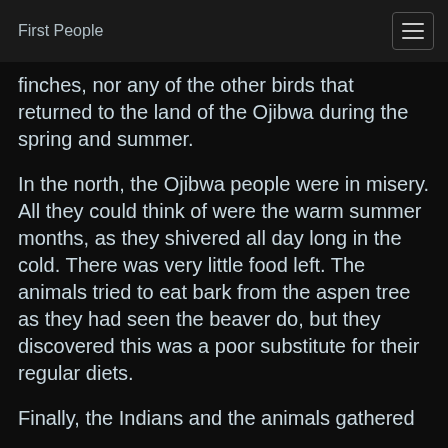First People
finches, nor any of the other birds that returned to the land of the Ojibwa during the spring and summer.
In the north, the Ojibwa people were in misery. All they could think of were the warm summer months, as they shivered all day long in the cold. There was very little food left. The animals tried to eat bark from the aspen tree as they had seen the beaver do, but they discovered this was a poor substitute for their regular diets.
Finally, the Indians and the animals gathered